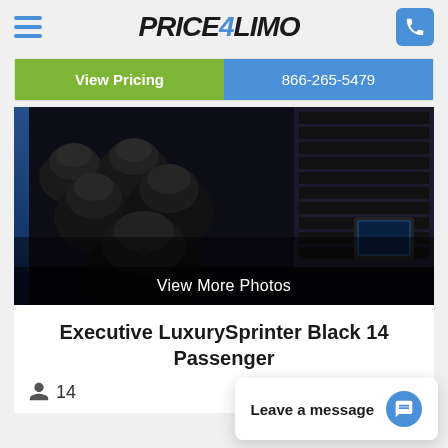Price4Limo — navigation header with hamburger menu and phone button
View Pricing | 866-265-5479
[Figure (photo): Interior of an executive luxury sprinter van showing rows of black leather seats with headrests, windows with blinds on the right side, and a small monitor/screen visible on the right wall. Dark, moody lighting.]
View More Photos
Executive LuxurySprinter Black 14 Passenger
14
Leave a message